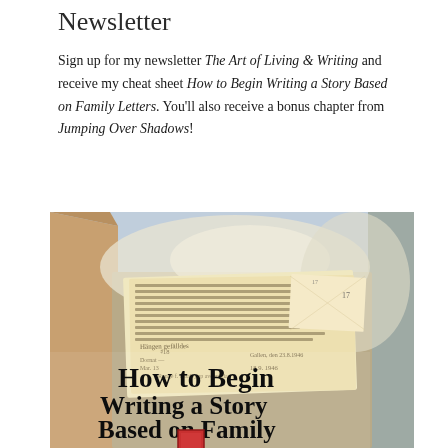Newsletter
Sign up for my newsletter The Art of Living & Writing and receive my cheat sheet How to Begin Writing a Story Based on Family Letters. You'll also receive a bonus chapter from Jumping Over Shadows!
[Figure (photo): A cardboard box viewed from above, containing old handwritten and typewritten family letters and documents. Overlaid on the photo in large bold serif text: 'How to Begin Writing a Story Based on Family Letters']